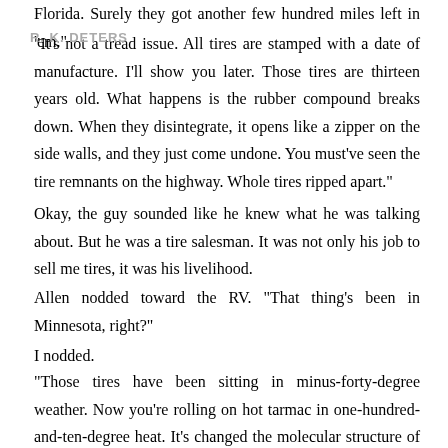Florida. Surely they got another few hundred miles left in 'em.'
"It's not a tread issue. All tires are stamped with a date of manufacture. I'll show you later. Those tires are thirteen years old. What happens is the rubber compound breaks down. When they disintegrate, it opens like a zipper on the side walls, and they just come undone. You must've seen the tire remnants on the highway. Whole tires ripped apart."
Okay, the guy sounded like he knew what he was talking about. But he was a tire salesman. It was not only his job to sell me tires, it was his livelihood.
Allen nodded toward the RV. "That thing's been in Minnesota, right?"
I nodded.
"Those tires have been sitting in minus-forty-degree weather. Now you're rolling on hot tarmac in one-hundred-and-ten-degree heat. It's changed the molecular structure of the rubber.
What do I do?" You can hear some frustration in." We